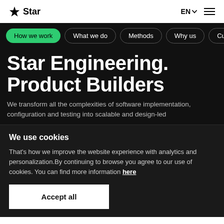Star | EN | menu
How we work
What we do
Methods
Why us
Culture
Star Engineering. Product Builders
We transform all the complexities of software implementation, configuration and testing into scalable and design-led
We use cookies
That's how we improve the website experience with analytics and personalization.By continuing to browse you agree to our use of cookies. You can find more information here
Accept all